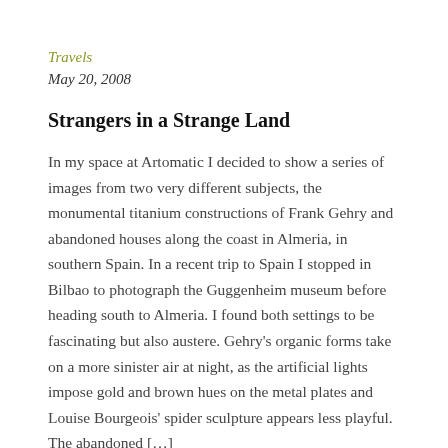Travels
May 20, 2008
Strangers in a Strange Land
In my space at Artomatic I decided to show a series of images from two very different subjects, the monumental titanium constructions of Frank Gehry and abandoned houses along the coast in Almeria, in southern Spain. In a recent trip to Spain I stopped in Bilbao to photograph the Guggenheim museum before heading south to Almeria. I found both settings to be fascinating but also austere. Gehry’s organic forms take on a more sinister air at night, as the artificial lights impose gold and brown hues on the metal plates and Louise Bourgeois’ spider sculpture appears less playful. The abandoned […]
Read More